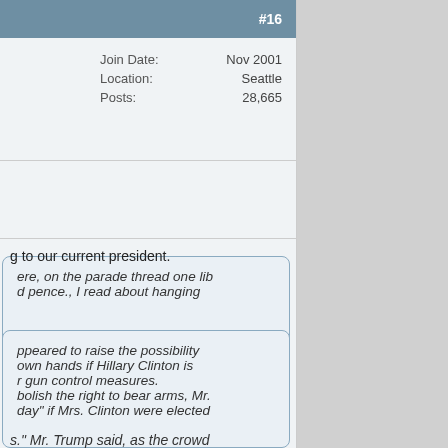#16
| Join Date: | Nov 2001 |
| Location: | Seattle |
| Posts: | 28,665 |
ere, on the parade thread one lib d pence., I read about hanging
g to our current president.
ppeared to raise the possibility own hands if Hillary Clinton is r gun control measures. bolish the right to bear arms, Mr. day" if Mrs. Clinton were elected
s." Mr. Trump said, as the crowd